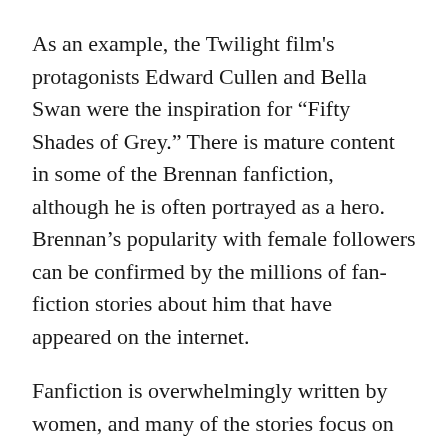As an example, the Twilight film's protagonists Edward Cullen and Bella Swan were the inspiration for “Fifty Shades of Grey.” There is mature content in some of the Brennan fanfiction, although he is often portrayed as a hero. Brennan’s popularity with female followers can be confirmed by the millions of fan-fiction stories about him that have appeared on the internet.
Fanfiction is overwhelmingly written by women, and many of the stories focus on Brennan’s love life from the perspective of his partner. It’s safe to say that Brennan has captured the hearts and minds of countless